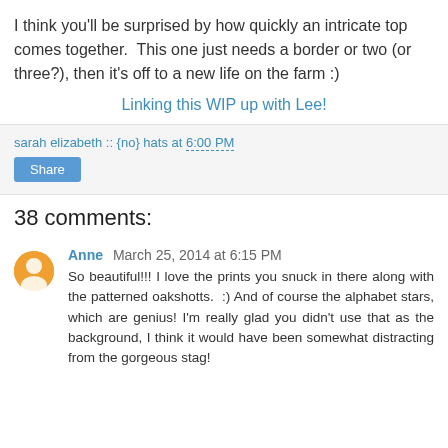I think you'll be surprised by how quickly an intricate top comes together.  This one just needs a border or two (or three?), then it's off to a new life on the farm :)
Linking this WIP up with Lee!
sarah elizabeth :: {no} hats at 6:00 PM
Share
38 comments:
Anne March 25, 2014 at 6:15 PM
So beautiful!!! I love the prints you snuck in there along with the patterned oakshotts.  :) And of course the alphabet stars, which are genius! I'm really glad you didn't use that as the background, I think it would have been somewhat distracting from the gorgeous stag!